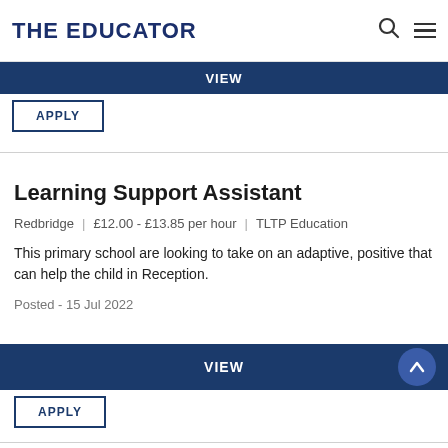THE EDUCATOR
VIEW
APPLY
Learning Support Assistant
Redbridge | £12.00 - £13.85 per hour | TLTP Education
This primary school are looking to take on an adaptive, positive that can help the child in Reception.
Posted - 15 Jul 2022
VIEW
APPLY